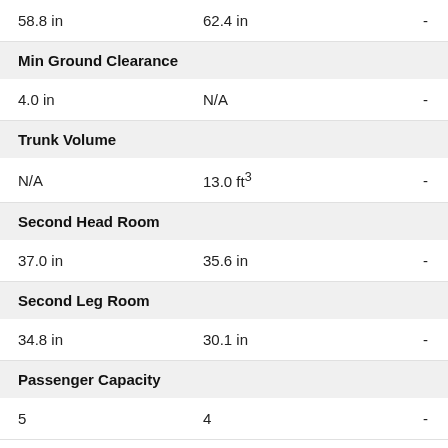| Col1 | Col2 | Col3 |
| --- | --- | --- |
| 58.8 in | 62.4 in | - |
| Min Ground Clearance |  |  |
| 4.0 in | N/A | - |
| Trunk Volume |  |  |
| N/A | 13.0 ft³ | - |
| Second Head Room |  |  |
| 37.0 in | 35.6 in | - |
| Second Leg Room |  |  |
| 34.8 in | 30.1 in | - |
| Passenger Capacity |  |  |
| 5 | 4 | - |